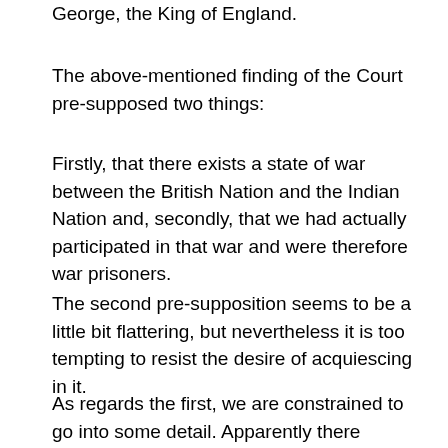George, the King of England.
The above-mentioned finding of the Court pre-supposed two things:
Firstly, that there exists a state of war between the British Nation and the Indian Nation and, secondly, that we had actually participated in that war and were therefore war prisoners.
The second pre-supposition seems to be a little bit flattering, but nevertheless it is too tempting to resist the desire of acquiescing in it.
As regards the first, we are constrained to go into some detail. Apparently there seems to be no such war as the phrase indicates. Nevertheless